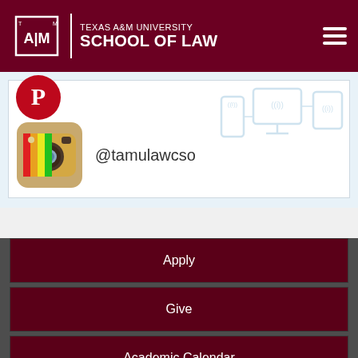Texas A&M University School of Law
[Figure (screenshot): Screenshot showing Instagram icon on left and '@tamulawcso' handle text, with wifi/devices illustration in background. Partial Pinterest icon visible at top.]
@tamulawcso
Apply
Give
Academic Calendar
Events